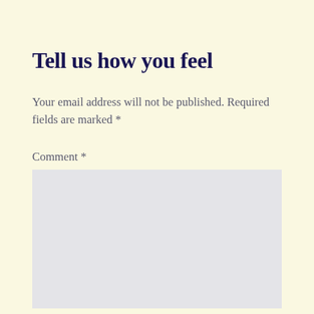Tell us how you feel
Your email address will not be published. Required fields are marked *
Comment *